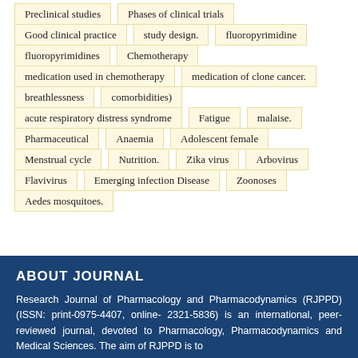Preclinical studies
Phases of clinical trials
Good clinical practice
study design.
fluoropyrimidine
fluoropyrimidines
Chemotherapy
medication used in chemotherapy
medication of clone cancer.
breathlessness
comorbidities)
acute respiratory distress syndrome
Fatigue
malaise.
Pharmaceutical
Anaemia
Adolescent female
Menstrual cycle
Nutrition.
Zika virus
Arbovirus
Flavivirus
Emerging infection Disease
Zoonoses
Aedes mosquitoes.
ABOUT JOURNAL
Research Journal of Pharmacology and Pharmacodynamics (RJPPD) (ISSN: print-0975-4407, online- 2321-5836) is an international, peer-reviewed journal, devoted to Pharmacology, Pharmacodynamics and Medical Sciences. The aim of RJPPD is to